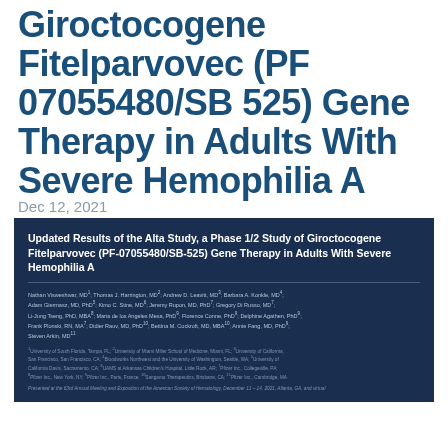Giroctocogene Fitelparvovec (PF 07055480/SB 525) Gene Therapy in Adults With Severe Hemophilia A
Dec 12, 2021
Updated Results of the Alta Study, a Phase 1/2 Study of Giroctocogene Fitelparvovec (PF-07055480/SB-525) Gene Therapy in Adults With Severe Hemophilia A
Nathan Visweshwar, MD1; Thomas J. Harrington, MD2; Andrew D. Leavitt, MD3; Barbara A. Konkle, MD4; Adam Giermasz, MD, PhD5; Kimo C. Stine, MD6; Jeremy Rupon, MD, PhD7; Gregory Di Russo, MD7; Li-Jung Tseng, PhD, MBA8; Maria de los Angeles Mesa, PhD9; Florence Conne, PhD9; Delphine Agathen, PhD9; Frank Plonski, RN, MA7; Didier Rauv, MD, PhD10; Bettina M. Cockroft, MD, MBA10; Annie Fang, MD, PhD9; Steven Arkin, MD11
1University of South Florida, Tampa, FL; 2University of Miami Miller School of Medicine, Miami, FL; 3University of California, San Francisco, San Francisco, CA; 4Bloodworks Northwest and the University of Washington, Seattle, WA; 5University of California Davis, Sacramento, CA; 6UAMS at Arkansas Children's Hospital, Little Rock, AR; 7Pfizer Inc., Collegeville, PA; 8Pfizer Inc., New York, NY; 9Pfizer Inc., Paris, France; 10Sangamo Therapeutics, Brisbane, CA; 11Pfizer Inc., Cambridge, MA
Presented at the 63rd Annual Meeting and Exposition of the American Society of Hematology, December 11–14, 2021, Atlanta, GA, and virtual